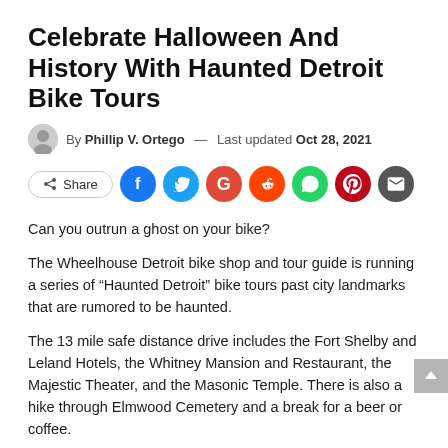Celebrate Halloween And History With Haunted Detroit Bike Tours
By Phillip V. Ortego — Last updated Oct 28, 2021
[Figure (other): Social share buttons row: Share button, Facebook, Twitter, Google+, Reddit, WhatsApp, Pinterest, Email icons]
Can you outrun a ghost on your bike?
The Wheelhouse Detroit bike shop and tour guide is running a series of “Haunted Detroit” bike tours past city landmarks that are rumored to be haunted.
The 13 mile safe distance drive includes the Fort Shelby and Leland Hotels, the Whitney Mansion and Restaurant, the Majestic Theater, and the Masonic Temple. There is also a hike through Elmwood Cemetery and a break for a beer or coffee.